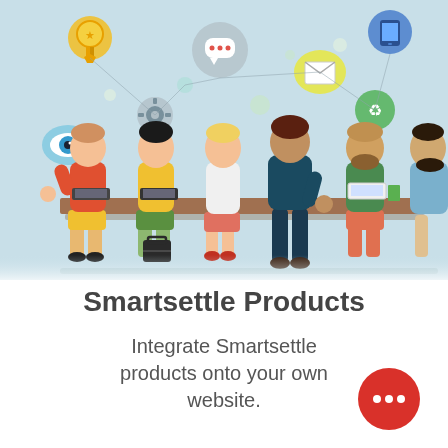[Figure (illustration): Flat-style illustration of six people (diverse, colourful outfits) seated and standing around a long table with laptops, briefcases, and documents. Above them floats a network of icons on a light-blue background: award medal, smartphone, chat bubble, envelope, recycle symbol, gear, eye, dots.]
Smartsettle Products
Integrate Smartsettle products onto your own website.